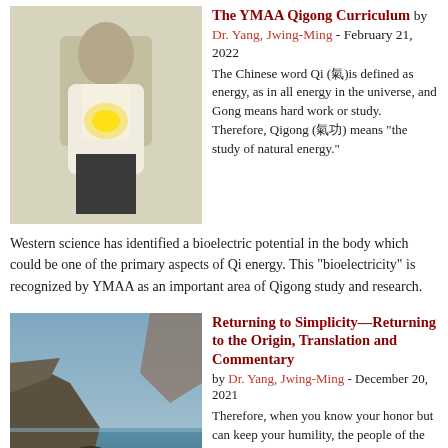[Figure (photo): Man in white shirt with hands on chest, glowing energy light between hands]
The YMAA Qigong Curriculum by Dr. Yang, Jwing-Ming - February 21, 2022
The Chinese word Qi (氣)is defined as energy, as in all energy in the universe, and Gong means hard work or study. Therefore, Qigong (氣功) means "the study of natural energy."
Western science has identified a bioelectric potential in the body which could be one of the primary aspects of Qi energy. This "bioelectricity" is recognized by YMAA as an important area of Qigong study and research.
[Figure (photo): Rocky coastal scene with cliffs and ocean water]
Returning to Simplicity—Returning to the Origin, Translation and Commentary by Dr. Yang, Jwing-Ming - December 20, 2021
Therefore, when you know your honor but can keep your humility, the people of the world will come to you and stay around you just like the valley streams collecting the water from all directions. When you have achieved this level of leadership, you have built a sufficient eternal De. Then you should return yourself to simplicity. Applied to the world, this simplicity can be an effective tool.